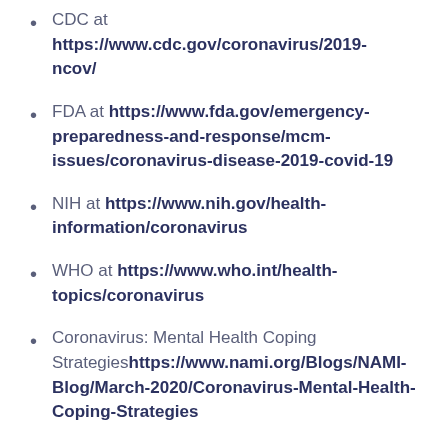CDC at https://www.cdc.gov/coronavirus/2019-ncov/
FDA at https://www.fda.gov/emergency-preparedness-and-response/mcm-issues/coronavirus-disease-2019-covid-19
NIH at https://www.nih.gov/health-information/coronavirus
WHO at https://www.who.int/health-topics/coronavirus
Coronavirus: Mental Health Coping Strategieshttps://www.nami.org/Blogs/NAMI-Blog/March-2020/Coronavirus-Mental-Health-Coping-Strategies